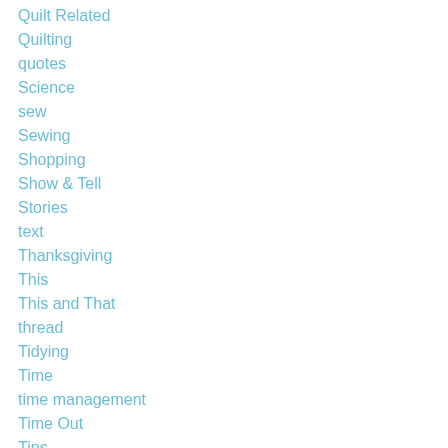Quilt Related
Quilting
quotes
Science
sew
Sewing
Shopping
Show & Tell
Stories
text
Thanksgiving
This
This and That
thread
Tidying
Time
time management
Time Out
Tips
Tips and Tricks